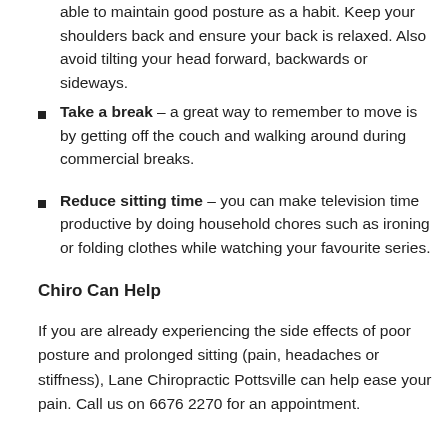able to maintain good posture as a habit. Keep your shoulders back and ensure your back is relaxed. Also avoid tilting your head forward, backwards or sideways.
Take a break – a great way to remember to move is by getting off the couch and walking around during commercial breaks.
Reduce sitting time – you can make television time productive by doing household chores such as ironing or folding clothes while watching your favourite series.
Chiro Can Help
If you are already experiencing the side effects of poor posture and prolonged sitting (pain, headaches or stiffness), Lane Chiropractic Pottsville can help ease your pain. Call us on 6676 2270 for an appointment.